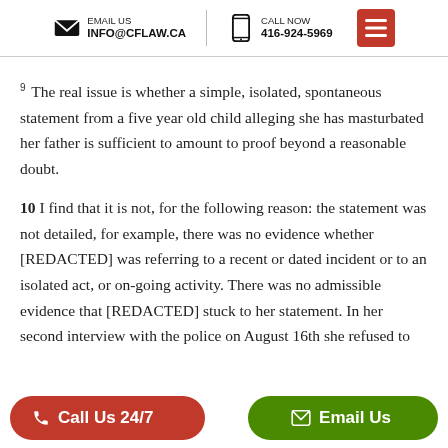EMAIL US INFO@CFLAW.CA | CALL NOW 416-924-5969
9 The real issue is whether a simple, isolated, spontaneous statement from a five year old child alleging she has masturbated her father is sufficient to amount to proof beyond a reasonable doubt.
10 I find that it is not, for the following reason: the statement was not detailed, for example, there was no evidence whether [REDACTED] was referring to a recent or dated incident or to an isolated act, or on-going activity. There was no admissible evidence that [REDACTED] stuck to her statement. In her second interview with the police on August 16th she refused to [p th... porting d...]